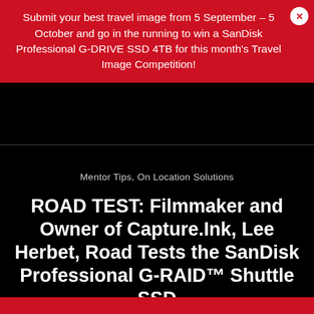Submit your best travel image from 5 September – 5 October and go in the running to win a SanDisk Professional G-DRIVE SSD 4TB for this month's Travel Image Competition!
[Figure (screenshot): Website navigation bar with dark background, logo placeholder box on left, and two red icon buttons on right (hamburger menu and solid rectangle)]
Mentor Tips, On Location Solutions
ROAD TEST: Filmmaker and Owner of Capture.Ink, Lee Herbet, Road Tests the SanDisk Professional G-RAID™ Shuttle SSD